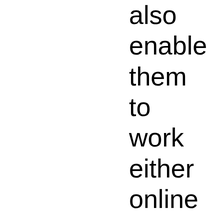also enable them to work either online or offline and provide access to